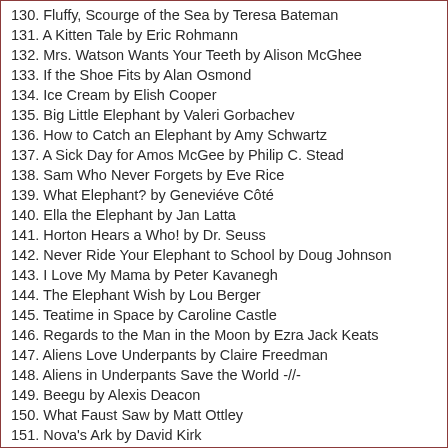130. Fluffy, Scourge of the Sea by Teresa Bateman
131. A Kitten Tale by Eric Rohmann
132. Mrs. Watson Wants Your Teeth by Alison McGhee
133. If the Shoe Fits by Alan Osmond
134. Ice Cream by Elish Cooper
135. Big Little Elephant by Valeri Gorbachev
136. How to Catch an Elephant by Amy Schwartz
137. A Sick Day for Amos McGee by Philip C. Stead
138. Sam Who Never Forgets by Eve Rice
139. What Elephant? by Geneviéve Côté
140. Ella the Elephant by Jan Latta
141. Horton Hears a Who! by Dr. Seuss
142. Never Ride Your Elephant to School by Doug Johnson
143. I Love My Mama by Peter Kavanegh
144. The Elephant Wish by Lou Berger
145. Teatime in Space by Caroline Castle
146. Regards to the Man in the Moon by Ezra Jack Keats
147. Aliens Love Underpants by Claire Freedman
148. Aliens in Underpants Save the World -//-
149. Beegu by Alexis Deacon
150. What Faust Saw by Matt Ottley
151. Nova's Ark by David Kirk